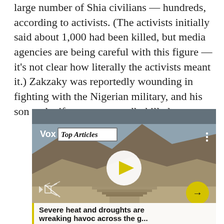large number of Shia civilians — hundreds, according to activists. (The activists initially said about 1,000 had been killed, but media agencies are being careful with this figure — it's not clear how literally the activists meant it.) Zakzaky was reportedly wounding in fighting with the Nigerian military, and his son and wife were reportedly killed.
[Figure (screenshot): Embedded video player from Vox showing a Top Articles segment. The thumbnail shows an arid landscape. A white circle play button with yellow triangle is centered. Bottom left shows mute/play controls. Bottom right shows a yellow circular arrow button. A caption bar at bottom reads: 'Severe heat and droughts are wreaking havoc across the g...']